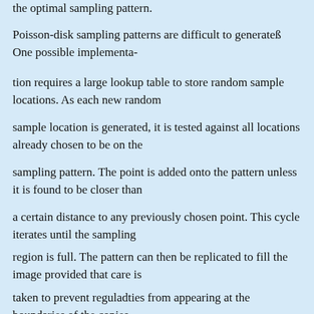the optimal sampling pattern.
Poisson-disk sampling patterns are difficult to generateß One possible implementa-
tion requires a large lookup table to store random sample locations. As each new random
sample location is generated, it is tested against all locations already chosen to be on the
sampling pattern. The point is added onto the pattern unless it is found to be closer than
a certain distance to any previously chosen point. This cycle iterates until the sampling
region is full. The pattern can then be replicated to fill the image provided that care is
taken to prevent reguladties from appearing at the boundaries of the copies.
In practice, this cosfly algorithm is approximated by cheaper alternatives. Two such
methods are items that are different sampling